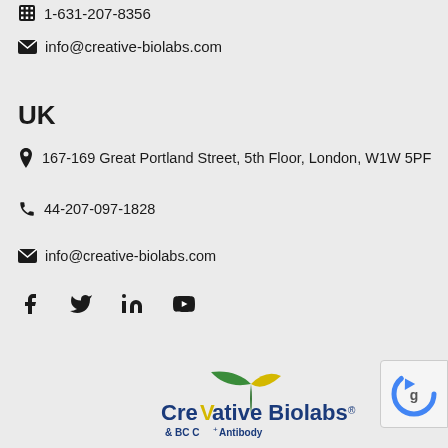1-631-207-8356
info@creative-biolabs.com
UK
167-169 Great Portland Street, 5th Floor, London, W1W 5PF
44-207-097-1828
info@creative-biolabs.com
[Figure (illustration): Social media icons: Facebook, Twitter, LinkedIn, YouTube]
[Figure (logo): Creative Biolabs logo with tagline BC C+ Antibody]